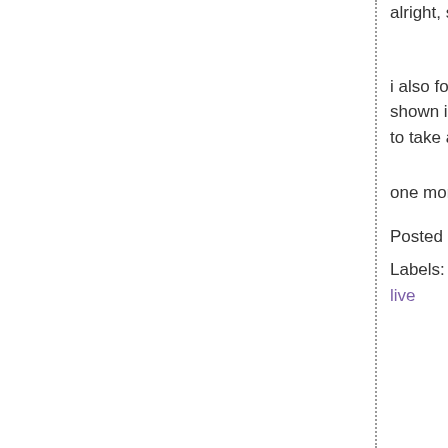alright, so
i also found shown in m to take a lo
one more t
Posted by
Labels: art live